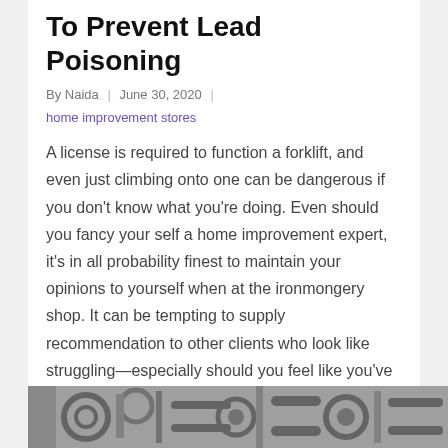To Prevent Lead Poisoning
By Naida | June 30, 2020 |
home improvement stores
A license is required to function a forklift, and even just climbing onto one can be dangerous if you don't know what you're doing. Even should you fancy your self a home improvement expert, it's in all probability finest to maintain your opinions to yourself when at the ironmongery shop. It can be tempting to supply recommendation to other clients who look like struggling—especially should you feel like you've the proper answer to their problem.
[Figure (photo): Black and white photo of mechanical or industrial equipment, partially visible at the bottom of the page.]